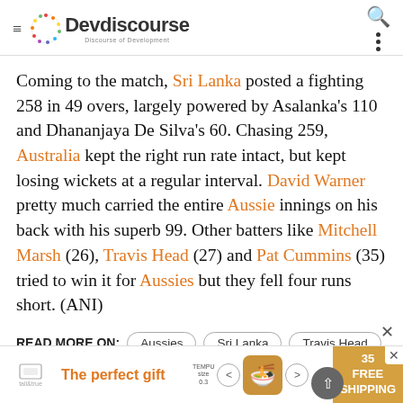Devdiscourse — Discourse of Development
Coming to the match, Sri Lanka posted a fighting 258 in 49 overs, largely powered by Asalanka's 110 and Dhananjaya De Silva's 60. Chasing 259, Australia kept the right run rate intact, but kept losing wickets at a regular interval. David Warner pretty much carried the entire Aussie innings on his back with his superb 99. Other batters like Mitchell Marsh (26), Travis Head (27) and Pat Cummins (35) tried to win it for Aussies but they fell four runs short. (ANI)
READ MORE ON:
Aussies
Sri Lanka
Travis Head
[Figure (screenshot): Advertisement banner: The perfect gift, with food/cup image and FREE SHIPPING offer]